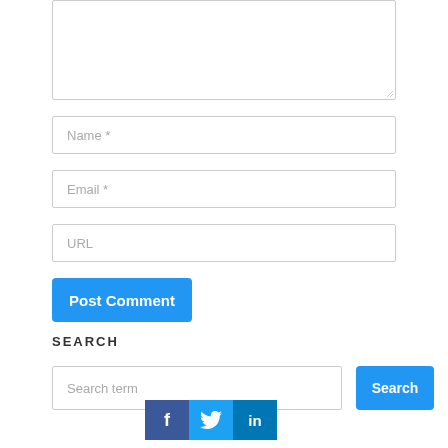[Figure (screenshot): A textarea input box (comment field) with resize handle at bottom right]
Name *
Email *
URL
Post Comment
SEARCH
Search term
Search
[Figure (infographic): Social media share bar with Facebook, Twitter, and LinkedIn icons]